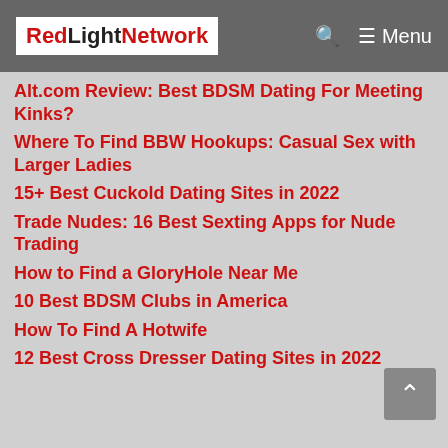RedLightNetwork | Menu
Alt.com Review: Best BDSM Dating For Meeting Kinks?
Where To Find BBW Hookups: Casual Sex with Larger Ladies
15+ Best Cuckold Dating Sites in 2022
Trade Nudes: 16 Best Sexting Apps for Nude Trading
How to Find a GloryHole Near Me
10 Best BDSM Clubs in America
How To Find A Hotwife
12 Best Cross Dresser Dating Sites in 2022